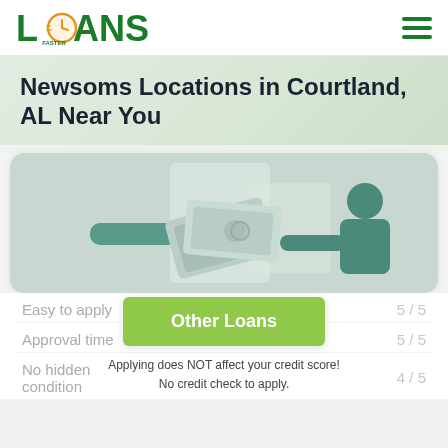[Figure (logo): Loans Faster logo with clock icon, green text]
Newsoms Locations in Courtland, AL Near You
[Figure (illustration): Illustration of two hands exchanging money/cash bills, with a person on the right side, on a light green/grey background]
Easy to apply
5 / 5
[Figure (infographic): Green 'Other Loans' button overlay with text 'Applying does NOT affect your credit score! No credit check to apply.']
Approval time
5 / 5
No hidden condition
4 / 5